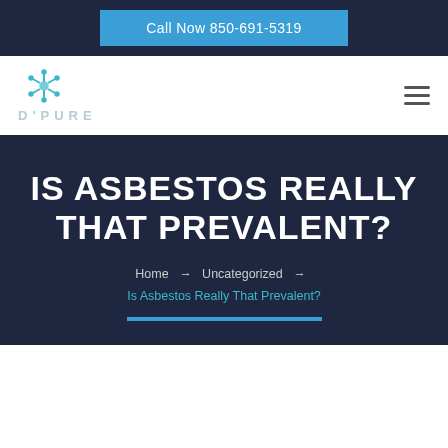Call Now 850-691-5319
[Figure (logo): D'Pure logo with snowflake/atom icon above the text D'PURE in light blue letters]
IS ASBESTOS REALLY THAT PREVALENT?
Home → Uncategorized → Is Asbestos Really That Prevalent?